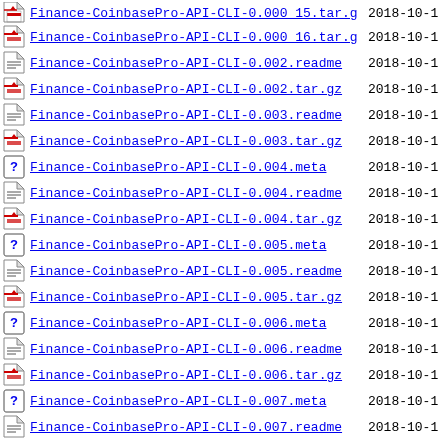Finance-CoinbasePro-API-CLI-0.000_15.tar.gz  2018-10-1
Finance-CoinbasePro-API-CLI-0.000_16.tar.gz  2018-10-1
Finance-CoinbasePro-API-CLI-0.002.readme  2018-10-1
Finance-CoinbasePro-API-CLI-0.002.tar.gz  2018-10-1
Finance-CoinbasePro-API-CLI-0.003.readme  2018-10-1
Finance-CoinbasePro-API-CLI-0.003.tar.gz  2018-10-1
Finance-CoinbasePro-API-CLI-0.004.meta  2018-10-1
Finance-CoinbasePro-API-CLI-0.004.readme  2018-10-1
Finance-CoinbasePro-API-CLI-0.004.tar.gz  2018-10-1
Finance-CoinbasePro-API-CLI-0.005.meta  2018-10-1
Finance-CoinbasePro-API-CLI-0.005.readme  2018-10-1
Finance-CoinbasePro-API-CLI-0.005.tar.gz  2018-10-1
Finance-CoinbasePro-API-CLI-0.006.meta  2018-10-1
Finance-CoinbasePro-API-CLI-0.006.readme  2018-10-1
Finance-CoinbasePro-API-CLI-0.006.tar.gz  2018-10-1
Finance-CoinbasePro-API-CLI-0.007.meta  2018-10-1
Finance-CoinbasePro-API-CLI-0.007.readme  2018-10-1